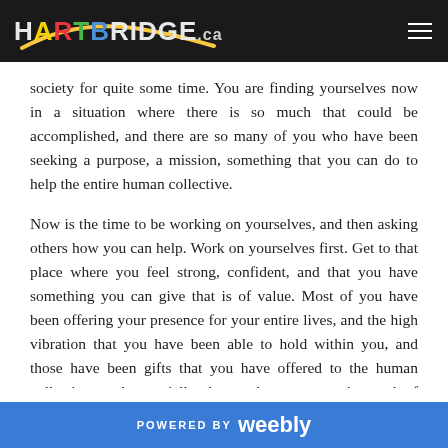HARTBRIDGE.ca
society for quite some time. You are finding yourselves now in a situation where there is so much that could be accomplished, and there are so many of you who have been seeking a purpose, a mission, something that you can do to help the entire human collective.
Now is the time to be working on yourselves, and then asking others how you can help. Work on yourselves first. Get to that place where you feel strong, confident, and that you have something you can give that is of value. Most of you have been offering your presence for your entire lives, and the high vibration that you have been able to hold within you, and those have been gifts that you have offered to the human collective, and especially those who are most in need of support, those
POWERED BY weebly